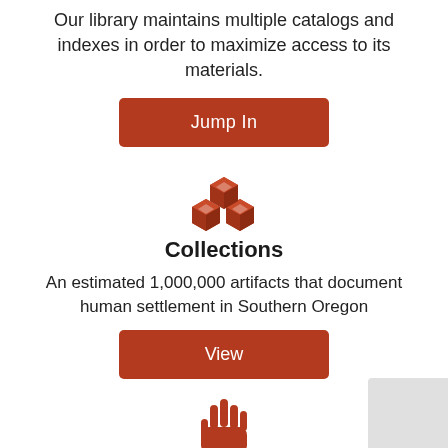Our library maintains multiple catalogs and indexes in order to maximize access to its materials.
[Figure (illustration): Red button labeled 'Jump In']
[Figure (illustration): Red stacked boxes/cubes icon representing Collections]
Collections
An estimated 1,000,000 artifacts that document human settlement in Southern Oregon
[Figure (illustration): Red button labeled 'View']
[Figure (illustration): Red hand/stop icon at bottom of page]